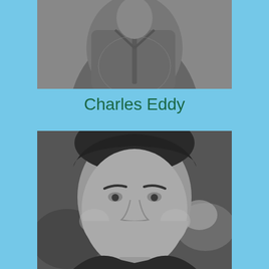[Figure (photo): Black and white photo of a person (partial view, upper body/chest area visible), wearing a casual shirt]
Charles Eddy
[Figure (photo): Black and white headshot photo of a middle-aged man with dark hair, smiling, wearing a dark jacket]